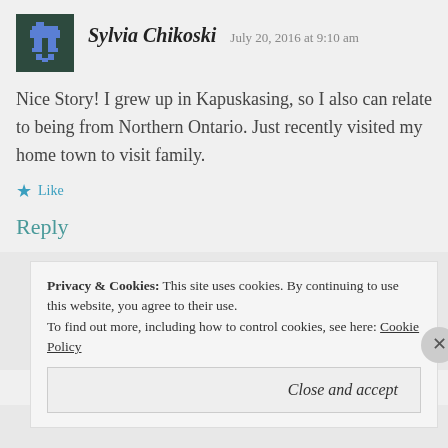[Figure (illustration): Pixel art avatar icon — dark teal/green background with blue pixelated figure]
Sylvia Chikoski  July 20, 2016 at 9:10 am
Nice Story! I grew up in Kapuskasing, so I also can relate to being from Northern Ontario. Just recently visited my home town to visit family.
Like
Reply
[Figure (other): Dark horizontal advertisement bar]
REPORT THIS AD
Privacy & Cookies:  This site uses cookies. By continuing to use this website, you agree to their use.
To find out more, including how to control cookies, see here: Cookie Policy
Close and accept